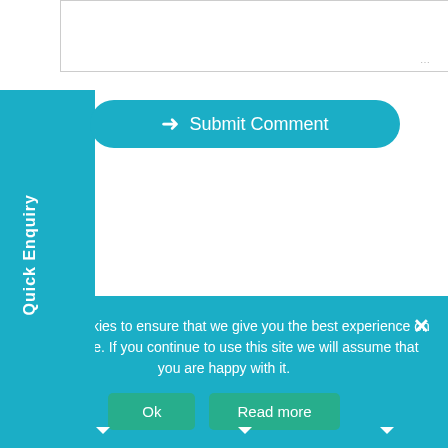[Figure (screenshot): Textarea input box at top of page]
Quick Enquiry
[Figure (screenshot): Submit Comment button with arrow icon]
Share This Article:
[Figure (infographic): Social share buttons: Facebook Share (10), Tweet (2), LinkedIn Share (7), Google+ (0)]
We use cookies to ensure that we give you the best experience on our website. If you continue to use this site we will assume that you are happy with it.
Ok  Read more